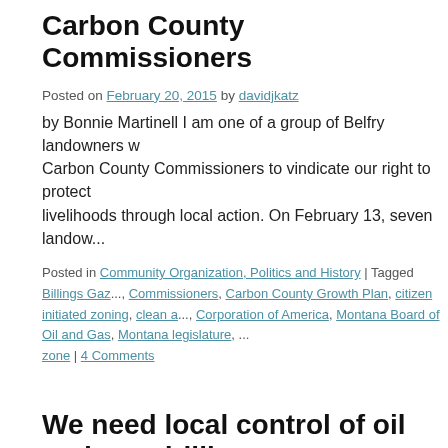Carbon County Commissioners
Posted on February 20, 2015 by davidjkatz
by Bonnie Martinell I am one of a group of Belfry landowners w... Carbon County Commissioners to vindicate our right to protect livelihoods through local action. On February 13, seven landow...
Posted in Community Organization, Politics and History | Tagged Billings Gaz..., Commissioners, Carbon County Growth Plan, citizen initiated zoning, clean a..., Corporation of America, Montana Board of Oil and Gas, Montana legislature, ... zone | 4 Comments
We need local control of oil and gas drilli...
Posted on February 3, 2015 by davidjkatz
I sometimes speak to Montanans who just don't like the idea of... "Regulation of oil and gas," they say, "is a matter for state and f... local governments involved, … Continue reading →
Posted in Community Organization, Politics and History | Tagged Billings Gaz... legislature, Preserve the Beartooth Front video | 15 Comments